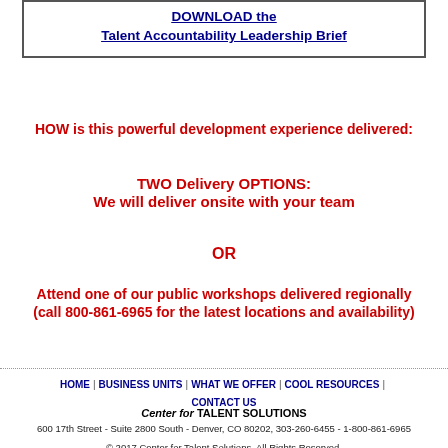DOWNLOAD the Talent Accountability Leadership Brief
HOW is this powerful development experience delivered:
TWO Delivery OPTIONS:
We will deliver onsite with your team
OR
Attend one of our public workshops delivered regionally (call 800-861-6965 for the latest locations and availability)
HOME | BUSINESS UNITS | WHAT WE OFFER | COOL RESOURCES | CONTACT US
Center for TALENT SOLUTIONS
600 17th Street - Suite 2800 South - Denver, CO 80202, 303-260-6455 - 1-800-861-6965
© 2017 Center for Talent Solutions. All Rights Reserved.